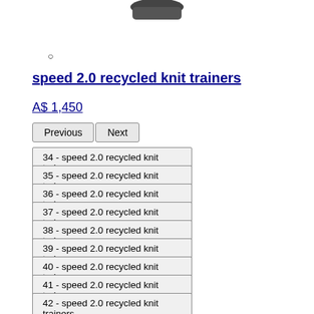[Figure (photo): Partial product image of a dark shoe/trainer at top of page]
○
speed 2.0 recycled knit trainers
A$ 1,450
Previous
Next
34 - speed 2.0 recycled knit trainers
35 - speed 2.0 recycled knit trainers
36 - speed 2.0 recycled knit trainers
37 - speed 2.0 recycled knit trainers
38 - speed 2.0 recycled knit trainers
39 - speed 2.0 recycled knit trainers
40 - speed 2.0 recycled knit trainers
41 - speed 2.0 recycled knit trainers
42 - speed 2.0 recycled knit trainers